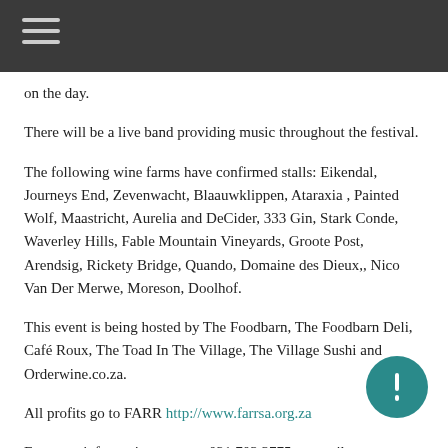on the day.
There will be a live band providing music throughout the festival.
The following wine farms have confirmed stalls: Eikendal, Journeys End, Zevenwacht, Blaauwklippen, Ataraxia , Painted Wolf, Maastricht, Aurelia and DeCider, 333 Gin, Stark Conde, Waverley Hills, Fable Mountain Vineyards, Groote Post, Arendsig, Rickety Bridge, Quando, Domaine des Dieux,, Nico Van Der Merwe, Moreson, Doolhof.
This event is being hosted by The Foodbarn, The Foodbarn Deli, Café Roux, The Toad In The Village, The Village Sushi and Orderwine.co.za.
All profits go to FARR http://www.farrsa.org.za
For more information contact: 021 703 3775 or email